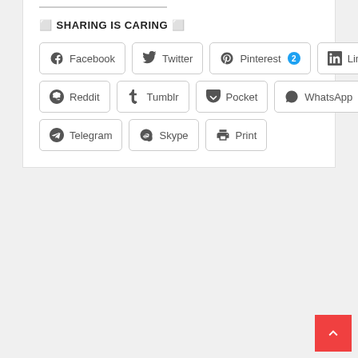♡ SHARING IS CARING ♡
Facebook
Twitter
Pinterest 2
LinkedIn
Reddit
Tumblr
Pocket
WhatsApp
Telegram
Skype
Print